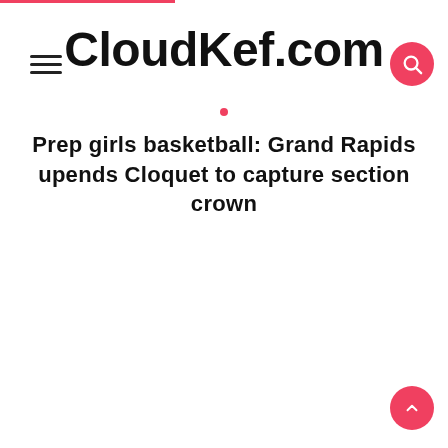CloudKef.com
Prep girls basketball: Grand Rapids upends Cloquet to capture section crown